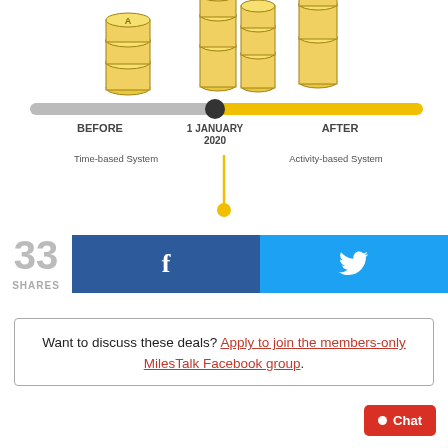[Figure (infographic): Timeline infographic showing Before/After 1 January 2020 for miles expiry. Left side (grey bar, BEFORE): Time-based System - Miles credited before 1 January 2020 will follow the existing time-based rule and continue to expire on a 3-year basis. Right side (yellow bar, AFTER): Activity-based System - Miles credited on or after 1 January 2020 will fall under the activity-based rule and they'll remain active* as long as you earn or use your Miles at least once every 18 months. Coin stack illustrations above the bar. A vertical yellow line divides the two sections with a yellow circle at bottom.]
[Figure (infographic): Social share bar showing 33 SHARES, Facebook button (dark blue with f icon), Twitter button (light blue with bird icon)]
Want to discuss these deals? Apply to join the members-only MilesTalk Facebook group.